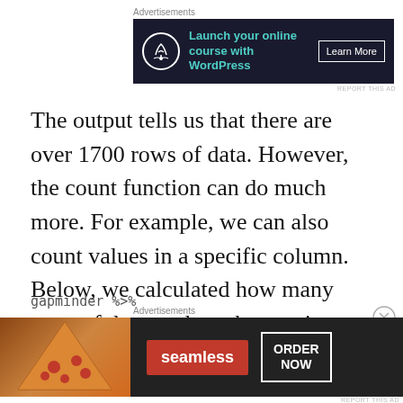[Figure (other): Advertisement banner: dark navy background with bonsai tree icon, teal text 'Launch your online course with WordPress', white 'Learn More' button]
The output tells us that there are over 1700 rows of data. However, the count function can do much more. For example, we can also count values in a specific column. Below, we calculated how many rows of data we have by continent.
[Figure (other): Advertisement banner: Seamless food delivery ad with pizza image, red Seamless logo, ORDER NOW button]